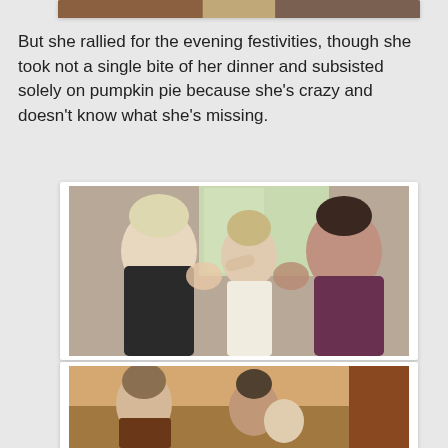[Figure (photo): Partially visible photo at top of page, cropped]
But she rallied for the evening festivities, though she took not a single bite of her dinner and subsisted solely on pumpkin pie because she's crazy and doesn't know what she's missing.
[Figure (photo): Two adults kissing a young child on the cheeks, indoor setting]
[Figure (photo): Group of people gathered indoors, partially visible at bottom]